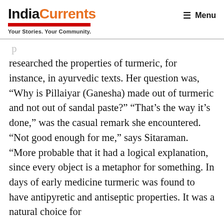IndiaCurrents — Your Stories. Your Community. | Menu
researched the properties of turmeric, for instance, in ayurvedic texts. Her question was, “Why is Pillaiyar (Ganesha) made out of turmeric and not out of sandal paste?” “That’s the way it’s done,” was the casual remark she encountered. “Not good enough for me,” says Sitaraman. “More probable that it had a logical explanation, since every object is a metaphor for something. In days of early medicine turmeric was found to have antipyretic and antiseptic properties. It was a natural choice for